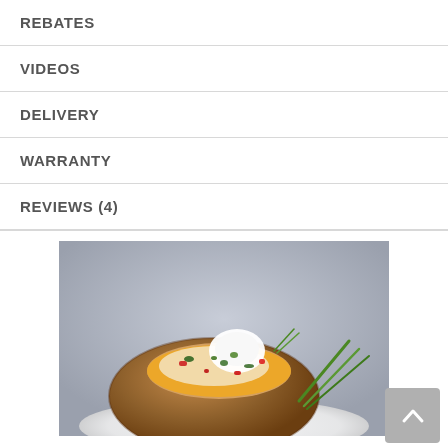REBATES
VIDEOS
DELIVERY
WARRANTY
REVIEWS (4)
[Figure (photo): A baked potato topped with melted cheddar cheese, sour cream, red pepper pieces, fresh herbs, and green onions, served on a white plate against a grey background.]